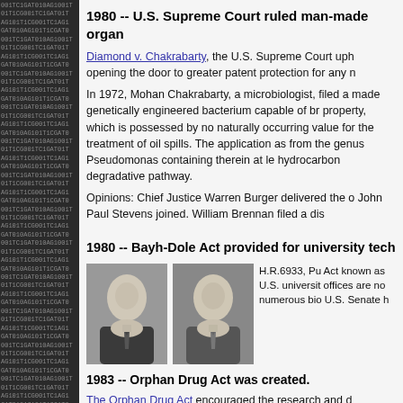[Figure (illustration): Dark background panel with DNA sequence text (0s, 1s, letters like T, C, G, A) repeated in a monospace font pattern, resembling binary/genetic code]
1980 -- U.S. Supreme Court ruled man-made organ...
Diamond v. Chakrabarty, the U.S. Supreme Court uph... opening the door to greater patent protection for any n...
In 1972, Mohan Chakrabarty, a microbiologist, filed a... made genetically engineered bacterium capable of br... property, which is possessed by no naturally occurring... value for the treatment of oil spills. The application as... from the genus Pseudomonas containing therein at le... hydrocarbon degradative pathway.
Opinions: Chief Justice Warren Burger delivered the o... John Paul Stevens joined. William Brennan filed a dis...
1980 -- Bayh-Dole Act provided for university tech...
[Figure (photo): Two black and white portrait photos of men in suits, presumably Senators Bayh and Dole]
H.R.6933, Pu... Act known as... U.S. universit... offices are no... numerous bio... U.S. Senate h...
1983 -- Orphan Drug Act was created.
The Orphan Drug Act encouraged the research and d... condition that affects fewer than 200,000 Americans.